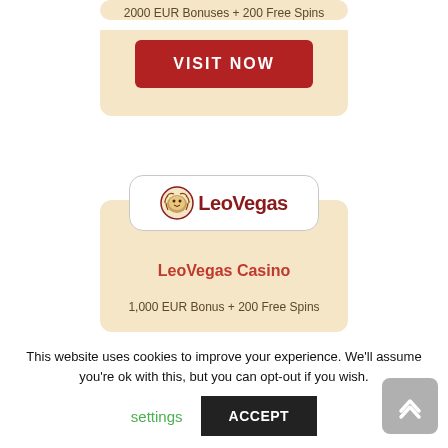2000 EUR Bonuses + 200 Free Spins
[Figure (other): VISIT NOW red button]
[Figure (logo): LeoVegas Casino logo with lion icon and LeoVegas text]
LeoVegas Casino
1,000 EUR Bonus + 200 Free Spins
This website uses cookies to improve your experience. We'll assume you're ok with this, but you can opt-out if you wish.
settings
ACCEPT